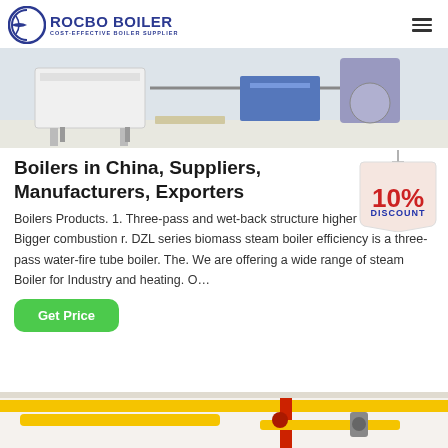ROCBO BOILER - COST-EFFECTIVE BOILER SUPPLIER
[Figure (photo): Industrial boilers on a factory floor, showing large white and blue machinery]
Boilers in China, Suppliers, Manufacturers, Exporters
Boilers Products. 1. Three-pass and wet-back structure higher efficiency 2. Bigger combustion r. DZL series biomass steam boiler efficiency is a three-pass water-fire tube boiler. The. We are offering a wide range of steam Boiler for Industry and heating. O…
[Figure (illustration): 10% DISCOUNT badge/tag illustration]
Get Price
[Figure (photo): Industrial piping with yellow and red pipes on ceiling of factory]